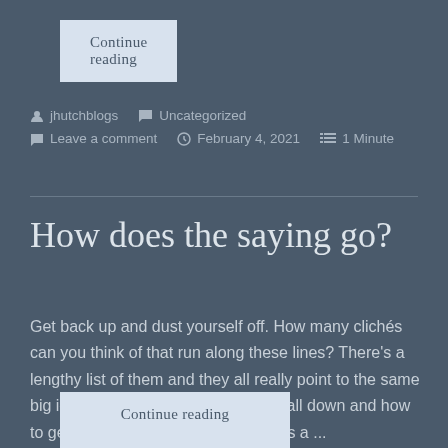Continue reading
jhutchblogs   Uncategorized   Leave a comment   February 4, 2021   1 Minute
How does the saying go?
Get back up and dust yourself off. How many clichés can you think of that run along these lines? There's a lengthy list of them and they all really point to the same big idea. You've got to learn how to fall down and how to get back up again. It seems like it's a ...
Continue reading